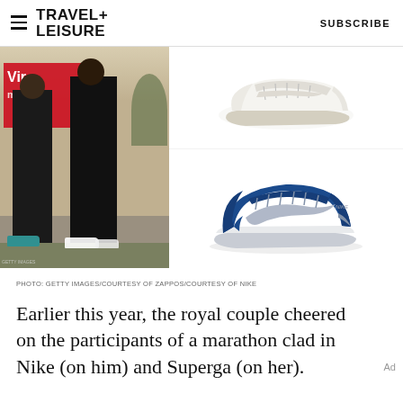TRAVEL+ LEISURE  SUBSCRIBE
[Figure (photo): Left: Two people standing outdoors at a marathon event in front of a red Virgin Money banner, wearing black athletic clothing and sneakers. Right top: White Superga sneaker on white background. Right bottom: Blue and grey Nike Internationalist sneaker on white background.]
PHOTO: GETTY IMAGES/COURTESY OF ZAPPOS/COURTESY OF NIKE
Earlier this year, the royal couple cheered on the participants of a marathon clad in Nike (on him) and Superga (on her).